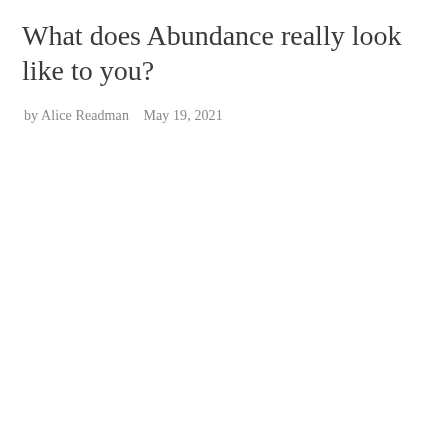What does Abundance really look like to you?
by Alice Readman   May 19, 2021